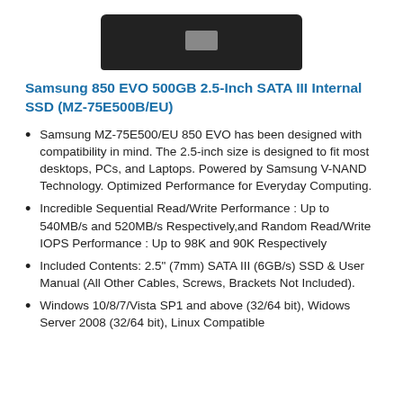[Figure (photo): Samsung SSD device shown from top, dark rectangular body with gray connector in center]
Samsung 850 EVO 500GB 2.5-Inch SATA III Internal SSD (MZ-75E500B/EU)
Samsung MZ-75E500/EU 850 EVO has been designed with compatibility in mind. The 2.5-inch size is designed to fit most desktops, PCs, and Laptops. Powered by Samsung V-NAND Technology. Optimized Performance for Everyday Computing.
Incredible Sequential Read/Write Performance : Up to 540MB/s and 520MB/s Respectively,and Random Read/Write IOPS Performance : Up to 98K and 90K Respectively
Included Contents: 2.5" (7mm) SATA III (6GB/s) SSD & User Manual (All Other Cables, Screws, Brackets Not Included).
Windows 10/8/7/Vista SP1 and above (32/64 bit), Widows Server 2008 (32/64 bit), Linux Compatible